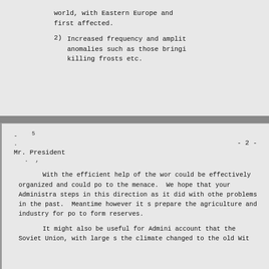world, with Eastern Europe and first affected.
2) Increased frequency and amplitude anomalies such as those bringing killing frosts etc.
Mr. President                    - 2 -
With the efficient help of the wor could be effectively organized and could po to the menace. We hope that your Administra steps in this direction as it did with othe problems in the past. Meantime however it s prepare the agriculture and industry for po to form reserves.
It might also be useful for Admin account that the Soviet Union, with large s the climate changed to the cold...